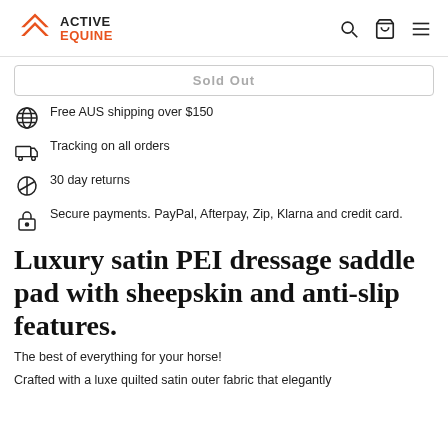ACTIVE EQUINE
Sold Out
Free AUS shipping over $150
Tracking on all orders
30 day returns
Secure payments. PayPal, Afterpay, Zip, Klarna and credit card.
Luxury satin PEI dressage saddle pad with sheepskin and anti-slip features.
The best of everything for your horse!
Crafted with a luxe quilted satin outer fabric that elegantly